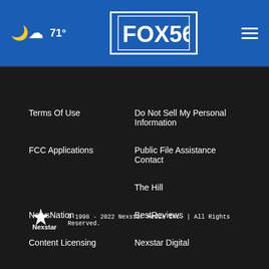FOX 56 — 71° weather header with hamburger menu
Terms Of Use
Do Not Sell My Personal Information
FCC Applications
Public File Assistance Contact
The Hill
NewsNation
BestReviews
Content Licensing
Nexstar Digital
© 1998 - 2022 Nexstar Media Inc. | All Rights Reserved.